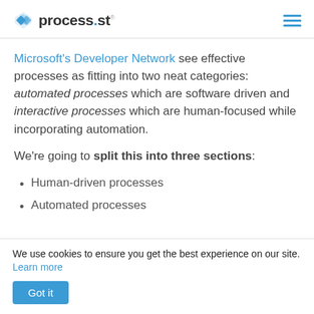process.st
Microsoft's Developer Network see effective processes as fitting into two neat categories: automated processes which are software driven and interactive processes which are human-focused while incorporating automation.
We're going to split this into three sections:
Human-driven processes
Automated processes
We use cookies to ensure you get the best experience on our site. Learn more